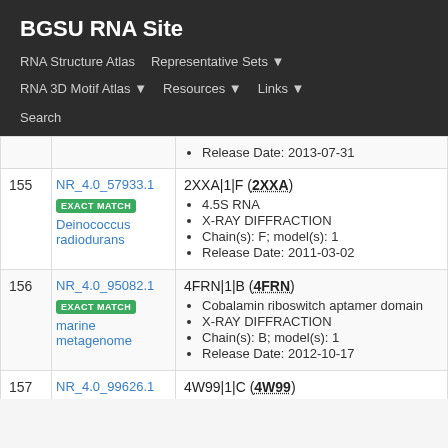BGSU RNA Site
RNA Structure Atlas | Representative Sets ▼ | RNA 3D Motif Atlas ▼ | Resources ▼ | Links ▼ | Search
| # | ID / Organism | Entry Details |
| --- | --- | --- |
|  |  | Release Date: 2013-07-31 |
| 155 | NR_4.0_57933.1 EXACT MATCH Deinococcus radiodurans | 2XXA|1|F (2XXA)
4.5S RNA
X-RAY DIFFRACTION
Chain(s): F; model(s): 1
Release Date: 2011-03-02 |
| 156 | NR_4.0_95082.1 EXACT MATCH marine metagenome | 4FRN|1|B (4FRN)
Cobalamin riboswitch aptamer domain
X-RAY DIFFRACTION
Chain(s): B; model(s): 1
Release Date: 2012-10-17 |
| 157 | NR_4.0_99626.1 | 4W99|1|C (4W99) |